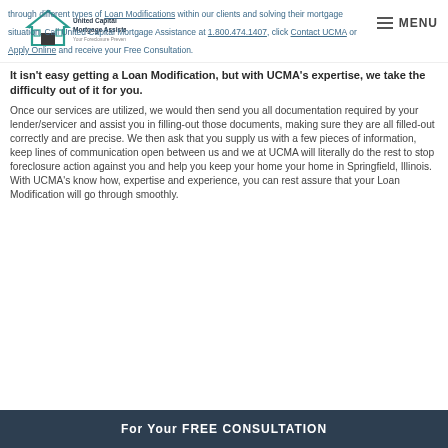United Capital Mortgage Assistance - Your Foreclosure Prevention Experts | MENU
through different types of Loan Modifications within our clients and solving their mortgage situation. Call United Capital Mortgage Assistance at 1.800.474.1407, click Contact UCMA or Apply Online and receive your Free Consultation.
It isn't easy getting a Loan Modification, but with UCMA's expertise, we take the difficulty out of it for you. Once our services are utilized, we would then send you all documentation required by your lender/servicer and assist you in filling-out those documents, making sure they are all filled-out correctly and are precise. We then ask that you supply us with a few pieces of information, keep lines of communication open between us and we at UCMA will literally do the rest to stop foreclosure action against you and help you keep your home your home in Springfield, Illinois. With UCMA's know how, expertise and experience, you can rest assure that your Loan Modification will go through smoothly.
For Your FREE CONSULTATION